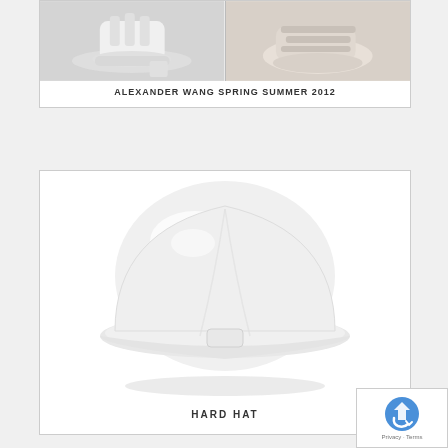[Figure (photo): Two fashion photos side by side showing shoes/footwear from Alexander Wang Spring Summer 2012 collection]
ALEXANDER WANG SPRING SUMMER 2012
[Figure (photo): A white hard hat (construction safety helmet) on white background]
HARD HAT
[Figure (other): reCAPTCHA logo with Privacy and Terms text]